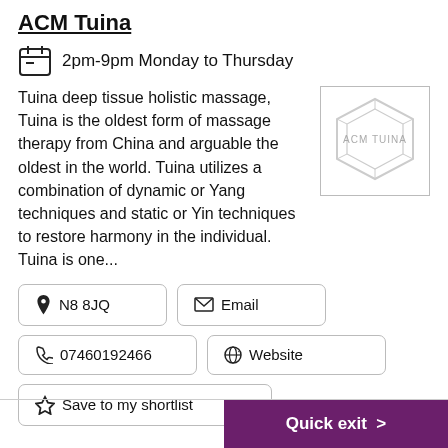ACM Tuina
2pm-9pm Monday to Thursday
Tuina deep tissue holistic massage, Tuina is the oldest form of massage therapy from China and arguable the oldest in the world. Tuina utilizes a combination of dynamic or Yang techniques and static or Yin techniques to restore harmony in the individual. Tuina is one...
[Figure (logo): ACM Tuina logo — hexagonal outline with text ACM TUINA inside]
N8 8JQ
Email
07460192466
Website
Save to my shortlist
Quick exit >